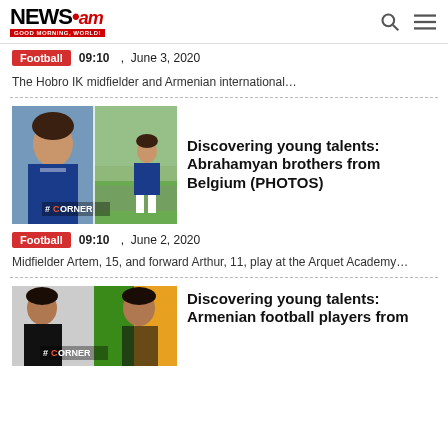NEWS.am GOOD MORNING, WORLD!
Football  09:10  ,  June 3, 2020
The Hobro IK midfielder and Armenian international…
[Figure (photo): Two boys wearing blue football jerseys, with a #Corner watermark]
Discovering young talents: Abrahamyan brothers from Belgium (PHOTOS)
Football  09:10  ,  June 2, 2020
Midfielder Artem, 15, and forward Arthur, 11, play at the Arquet Academy…
[Figure (photo): Two young adult men, one in black and one with green/orange background, with a #Corner watermark]
Discovering young talents: Armenian football players from